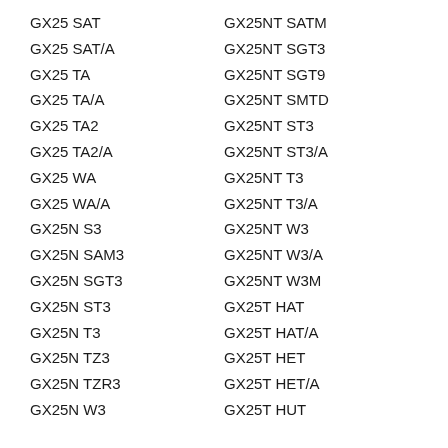GX25 SAT
GX25 SAT/A
GX25 TA
GX25 TA/A
GX25 TA2
GX25 TA2/A
GX25 WA
GX25 WA/A
GX25N S3
GX25N SAM3
GX25N SGT3
GX25N ST3
GX25N T3
GX25N TZ3
GX25N TZR3
GX25N W3
GX25NT SATM
GX25NT SGT3
GX25NT SGT9
GX25NT SMTD
GX25NT ST3
GX25NT ST3/A
GX25NT T3
GX25NT T3/A
GX25NT W3
GX25NT W3/A
GX25NT W3M
GX25T HAT
GX25T HAT/A
GX25T HET
GX25T HET/A
GX25T HUT